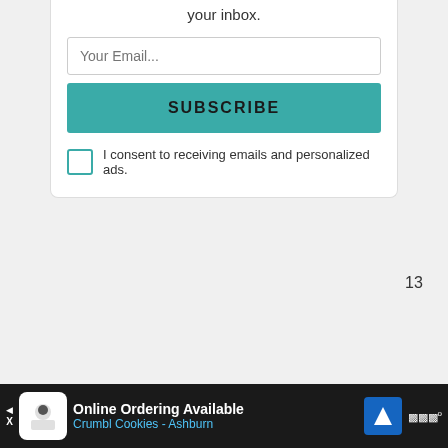your inbox.
Your Email...
SUBSCRIBE
I consent to receiving emails and personalized ads.
[Figure (infographic): Heart/like button (teal circle with heart icon) and share button (white circle with share icon), with like count 13]
13
WHAT'S NEXT → Hurtful Words Quotes - Ho...
“When someone tells you that you have done something that has hurt them, you
[Figure (infographic): Advertisement banner: Online Ordering Available - Crumbl Cookies - Ashburn, with logo and navigation icon]